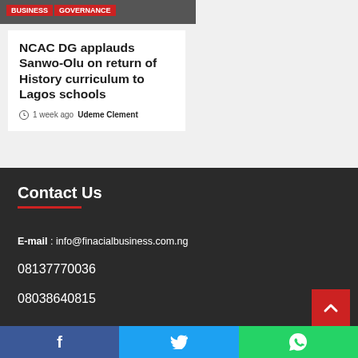[Figure (screenshot): Article image strip at top with Business and Governance red category badges]
NCAC DG applauds Sanwo-Olu on return of History curriculum to Lagos schools
1 week ago  Udeme Clement
Contact Us
E-mail : info@finacialbusiness.com.ng
08137770036
08038640815
Facebook  Twitter  WhatsApp social share bar